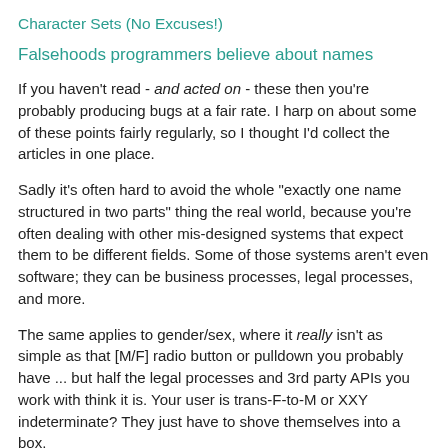Character Sets (No Excuses!)
Falsehoods programmers believe about names
If you haven't read - and acted on - these then you're probably producing bugs at a fair rate. I harp on about some of these points fairly regularly, so I thought I'd collect the articles in one place.
Sadly it's often hard to avoid the whole "exactly one name structured in two parts" thing the real world, because you're often dealing with other mis-designed systems that expect them to be different fields. Some of those systems aren't even software; they can be business processes, legal processes, and more.
The same applies to gender/sex, where it really isn't as simple as that [M/F] radio button or pulldown you probably have ... but half the legal processes and 3rd party APIs you work with think it is. Your user is trans-F-to-M or XXY indeterminate? They just have to shove themselves into a box.